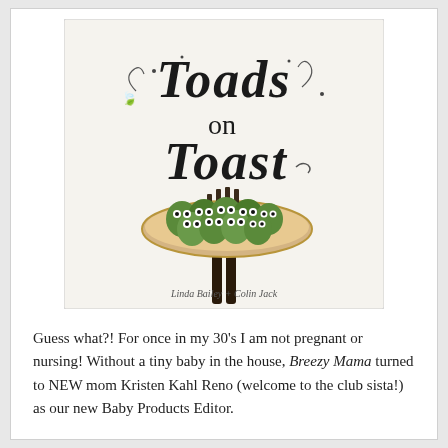[Figure (illustration): Book cover for 'Toads on Toast' by Linda Bailey and Colin Jack. The cover features whimsical hand-lettered title text at the top and cartoon illustration of many green toads with big eyes gathered on a large piece of toast being held by a fork.]
Guess what?! For once in my 30's I am not pregnant or nursing! Without a tiny baby in the house, Breezy Mama turned to NEW mom Kristen Kahl Reno (welcome to the club sista!) as our new Baby Products Editor.